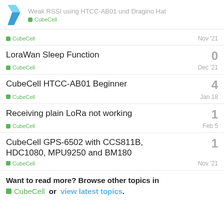Weak RSSI using HTCC-AB01 und Dragino Hat — CubeCell
CubeCell — Nov '21
LoraWan Sleep Function — CubeCell — Dec '21 — 0 replies
CubeCell HTCC-AB01 Beginner — CubeCell — Jan 18 — 4 replies
Receiving plain LoRa not working — CubeCell — Feb 5 — 1 reply
CubeCell GPS-6502 with CCS811B, HDC1080, MPU9250 and BM180 — CubeCell — Nov '21 — 1 reply
Want to read more? Browse other topics in CubeCell or view latest topics.